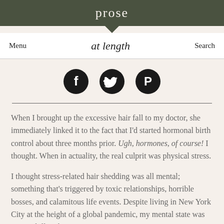prose
Menu   at length   Search
[Figure (illustration): Three social media icons in black circles: Facebook, Twitter, Pinterest]
When I brought up the excessive hair fall to my doctor, she immediately linked it to the fact that I'd started hormonal birth control about three months prior. Ugh, hormones, of course! I thought. When in actuality, the real culprit was physical stress.
I thought stress-related hair shedding was all mental; something that's triggered by toxic relationships, horrible bosses, and calamitous life events. Despite living in New York City at the height of a global pandemic, my mental state was pretty chill at the